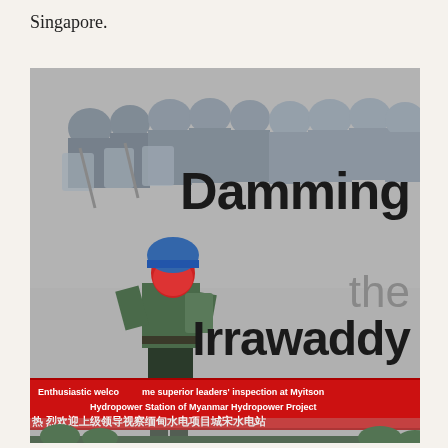Singapore.
[Figure (photo): A person in camouflage clothing with a red face covering and blue helmet walks in the foreground, while riot police with shields are visible in the background. A red banner across the bottom reads 'Enthusiastic welcome superior leaders' inspection at Myitsone Hydropower Station of Myanmar Hydropower Project' in English and Chinese characters. Overlaid on the right side is the text 'Damming the Irrawaddy' in large bold letters.]
Damming the Irrawaddy